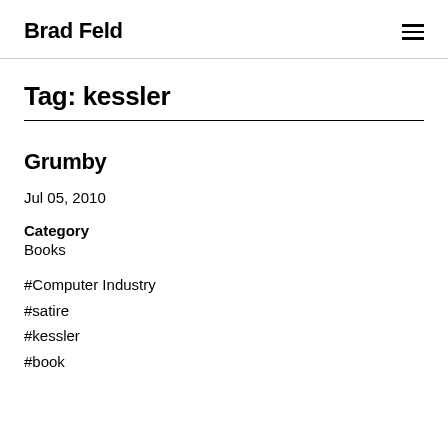Brad Feld
Tag: kessler
Grumby
Jul 05, 2010
Category
Books
#Computer Industry
#satire
#kessler
#book